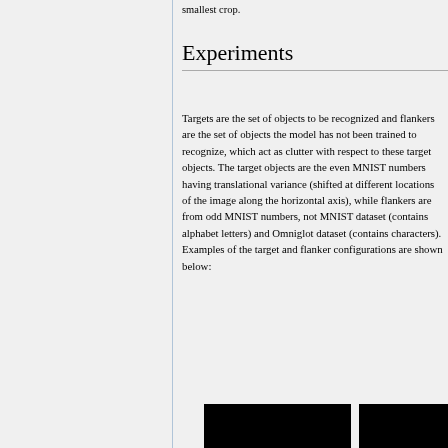smallest crop.
Experiments
Targets are the set of objects to be recognized and flankers are the set of objects the model has not been trained to recognize, which act as clutter with respect to these target objects. The target objects are the even MNIST numbers having translational variance (shifted at different locations of the image along the horizontal axis), while flankers are from odd MNIST numbers, not MNIST dataset (contains alphabet letters) and Omniglot dataset (contains characters). Examples of the target and flanker configurations are shown below:
[Figure (photo): Two black image panels shown at the bottom of the page, partially visible, showing examples of target and flanker configurations.]